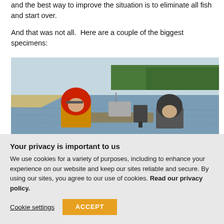and the best way to improve the situation is to eliminate all fish and start over.
And that was not all.  Here are a couple of the biggest specimens:
[Figure (photo): Two people in a boat on a river; left person wearing red hood and yellow jacket, right person wearing dark helmet. River, sandy bank, and trees visible in background.]
Your privacy is important to us
We use cookies for a variety of purposes, including to enhance your experience on our website and keep our sites reliable and secure. By using our sites, you agree to our use of cookies. Read our privacy policy.
Cookie settings   ACCEPT